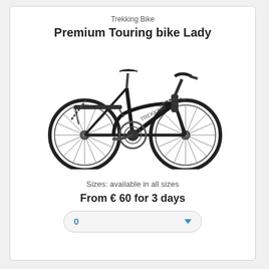Trekking Bike
Premium Touring bike Lady
[Figure (photo): Black trekking/touring bicycle (lady step-through frame) with rear rack, shown in profile against white background]
Sizes: available in all sizes
From € 60 for 3 days
0